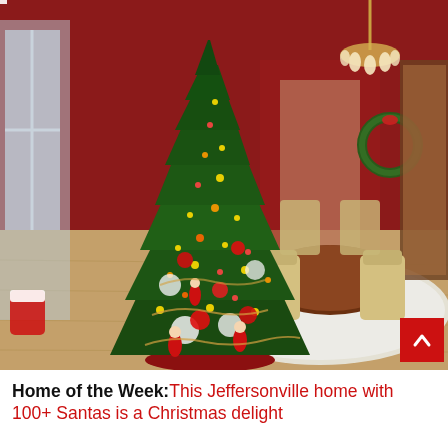[Figure (photo): Interior of a home decorated for Christmas. A large, heavily decorated Christmas tree dominates the left side with white and red ornaments, lights, and Santa figurines. The background shows a dining room with red walls, cream upholstered chairs, a round wooden table, a white fluffy rug, a chandelier, and a wreath. A red 'scroll up' arrow button appears in the bottom-right corner of the image.]
Home of the Week: This Jeffersonville home with 100+ Santas is a Christmas delight